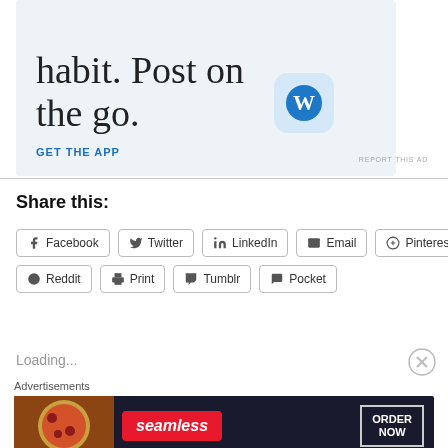[Figure (screenshot): WordPress app advertisement with text 'habit. Post on the go.' and GET THE APP call to action with WordPress logo icon]
REPORT THIS AD
Share this:
Facebook Twitter LinkedIn Email Pinterest Reddit Print Tumblr Pocket
Loading...
Advertisements
[Figure (screenshot): Seamless food delivery advertisement with pizza image and ORDER NOW button]